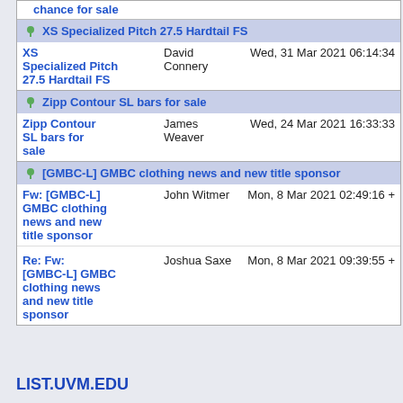chance for sale
XS Specialized Pitch 27.5 Hardtail FS
XS Specialized Pitch 27.5 Hardtail FS | David Connery | Wed, 31 Mar 2021 06:14:34
Zipp Contour SL bars for sale
Zipp Contour SL bars for sale | James Weaver | Wed, 24 Mar 2021 16:33:33
[GMBC-L] GMBC clothing news and new title sponsor
Fw: [GMBC-L] GMBC clothing news and new title sponsor | John Witmer | Mon, 8 Mar 2021 02:49:16
Re: Fw: [GMBC-L] GMBC clothing news and new title sponsor | Joshua Saxe | Mon, 8 Mar 2021 09:39:55
LIST.UVM.EDU